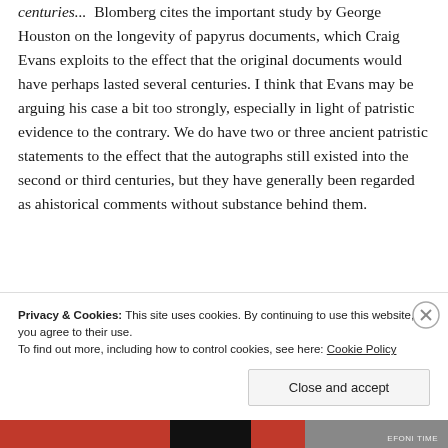centuries... Blomberg cites the important study by George Houston on the longevity of papyrus documents, which Craig Evans exploits to the effect that the original documents would have perhaps lasted several centuries. I think that Evans may be arguing his case a bit too strongly, especially in light of patristic evidence to the contrary. We do have two or three ancient patristic statements to the effect that the autographs still existed into the second or third centuries, but they have generally been regarded as ahistorical comments without substance behind them.
Privacy & Cookies: This site uses cookies. By continuing to use this website, you agree to their use. To find out more, including how to control cookies, see here: Cookie Policy
Close and accept